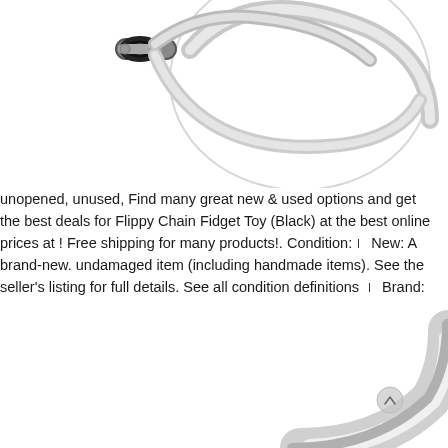[Figure (photo): Close-up photo of a Flippy Chain Fidget Toy (Black) showing metal ring and chain components against white background, upper portion of image cropped at top]
unopened, unused, Find many great new & used options and get the best deals for Flippy Chain Fidget Toy (Black) at the best online prices at ! Free shipping for many products!. Condition:ꀀ New: A brand-new. undamaged item (including handmade items). See the seller's listing for full details. See all condition definitions ꀀ Brand: ꀀ vptoys ꀀ UPC: ꀀ Does not apply ꀀ ꀀ.
[Figure (photo): Close-up photo of a shiny silver metal ring/loop component of a Flippy Chain Fidget Toy, partially visible at bottom right of page, bottom portion cropped]